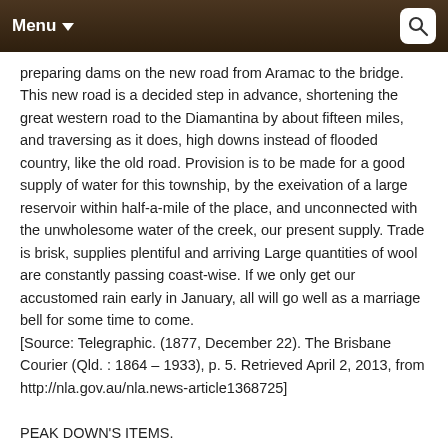Menu  [search icon]
preparing dams on the new road from Aramac to the bridge. This new road is a decided step in advance, shortening the great western road to the Diamantina by about fifteen miles, and traversing as it does, high downs instead of flooded country, like the old road. Provision is to be made for a good supply of water for this township, by the exeivation of a large reservoir within half-a-mile of the place, and unconnected with the unwholesome water of the creek, our present supply. Trade is brisk, supplies plentiful and arriving Large quantities of wool are constantly passing coast-wise. If we only get our accustomed rain early in January, all will go well as a marriage bell for some time to come. [Source: Telegraphic. (1877, December 22). The Brisbane Courier (Qld. : 1864 – 1933), p. 5. Retrieved April 2, 2013, from http://nla.gov.au/nla.news-article1368725]
PEAK DOWN'S ITEMS.
The road from Blackall to Emerald Downs (says the P. D. Telegram) is now partly complete, it has been surveyed